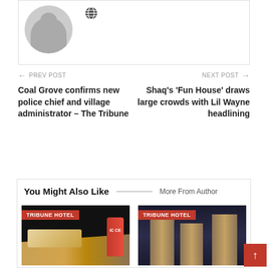[Figure (illustration): User avatar silhouette (grey) with globe icon to the right, inside a bordered box at the top of the page]
← PREV POST
Coal Grove confirms new police chief and village administrator – The Tribune
NEXT POST →
Shaq's 'Fun House' draws large crowds with Lil Wayne headlining
You Might Also Like
More From Author
[Figure (photo): Food image with TRIBUNE HOTEL red label badge showing colorful sprinkle dessert and ICCE branded bottle]
[Figure (photo): Night cityscape with tall illuminated skyscraper towers under dark sky with TRIBUNE HOTEL red label badge]